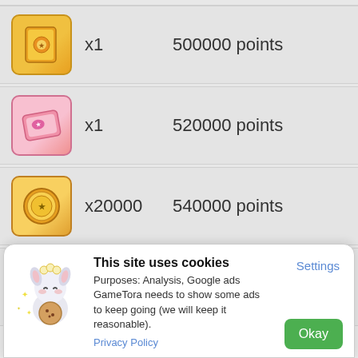x1   500000 points
x1   520000 points
x20000   540000 points
x5000   560000 points
This site uses cookies
Purposes: Analysis, Google ads
GameTora needs to show some ads to keep going (we will keep it reasonable).
Privacy Policy
Settings
Okay